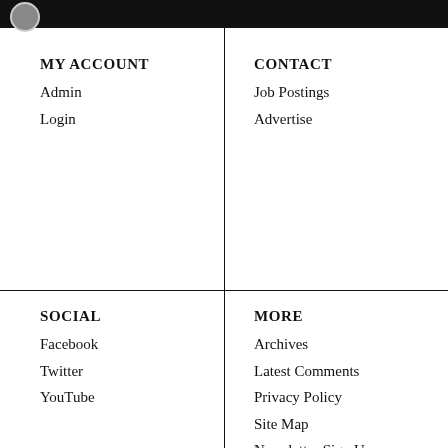iBrand
MY ACCOUNT
Admin
Login
CONTACT
Job Postings
Advertise
SOCIAL
Facebook
Twitter
YouTube
MORE
Archives
Latest Comments
Privacy Policy
Site Map
Newsletter Sign Up